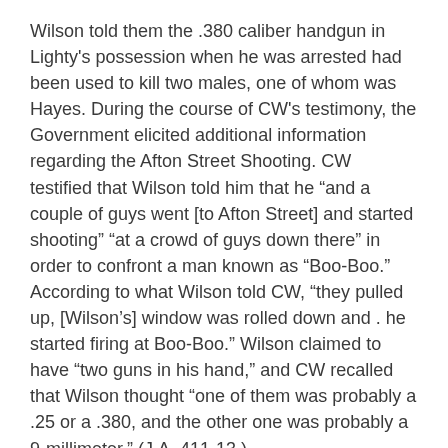Wilson told them the .380 caliber handgun in Lighty's possession when he was arrested had been used to kill two males, one of whom was Hayes. During the course of CW's testimony, the Government elicited additional information regarding the Afton Street Shooting. CW testified that Wilson told him that he “and a couple of guys went [to Afton Street] and started shooting” “at a crowd of guys down there” in order to confront a man known as “Boo-Boo.” According to what Wilson told CW, “they pulled up, [Wilson’s] window was rolled down and . he started firing at Boo-Boo.” Wilson claimed to have “two guns in his hand,” and CW recalled that Wilson thought “one of them was probably a .25 or a .380, and the other one was probably a 9-millimeter.” (J.A. 411-13.)
Thomas Hart, one of the Afton Street Shooting victims, then testified that he, Newbill, and a man known as “Boo-Boo” were standing on the street when a Ford Taurus drove by